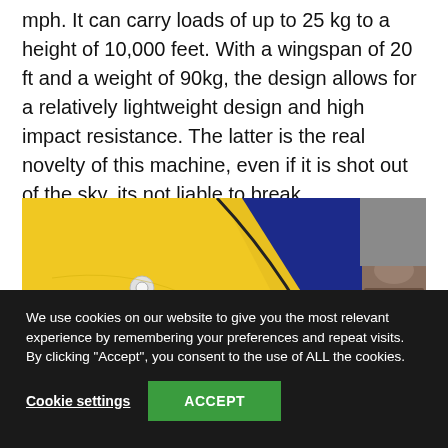mph. It can carry loads of up to 25 kg to a height of 10,000 feet. With a wingspan of 20 ft and a weight of 90kg, the design allows for a relatively lightweight design and high impact resistance. The latter is the real novelty of this machine, even if it is shot out of the sky, its not liable to break.
[Figure (photo): Close-up photo of a yellow and dark blue aircraft wing or fuselage surface with a white bolt/fastener visible, and a person's foot/sandal on the right side against a blue background.]
We use cookies on our website to give you the most relevant experience by remembering your preferences and repeat visits. By clicking "Accept", you consent to the use of ALL the cookies.
Cookie settings   ACCEPT